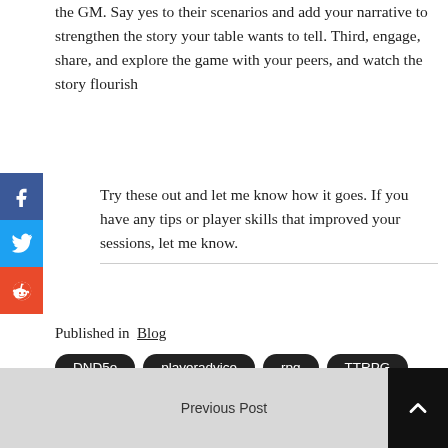the GM. Say yes to their scenarios and add your narrative to strengthen the story your table wants to tell. Third, engage, share, and explore the game with your peers, and watch the story flourish
Try these out and let me know how it goes. If you have any tips or player skills that improved your sessions, let me know.
Published in Blog
DND5e
playeradvice
rpg
TTRPG
Previous Post